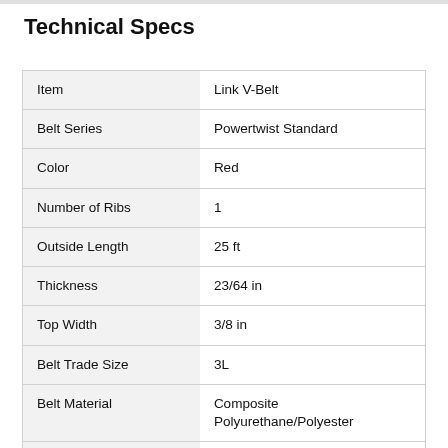Technical Specs
|  |  |
| --- | --- |
| Item | Link V-Belt |
| Belt Series | Powertwist Standard |
| Color | Red |
| Number of Ribs | 1 |
| Outside Length | 25 ft |
| Thickness | 23/64 in |
| Top Width | 3/8 in |
| Belt Trade Size | 3L |
| Belt Material | Composite Polyurethane/Polyester |
| For Use With | Single Or Multiple V-Belt |